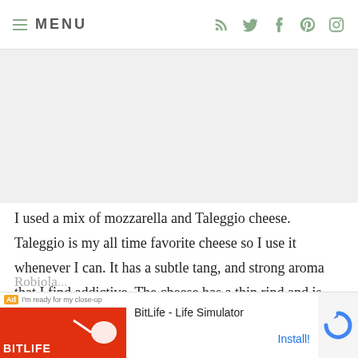MENU
I used a mix of mozzarella and Taleggio cheese. Taleggio is my all time favorite cheese so I use it whenever I can. It has a subtle tang, and strong aroma that I find addictive. The cheese has a thin rind and is creamy smooth inside similar to a French Brie cheese. If you cannot find Tallegio, you could use any flavorful, creamy cheese in its pl...
Robiola... least 2... d store